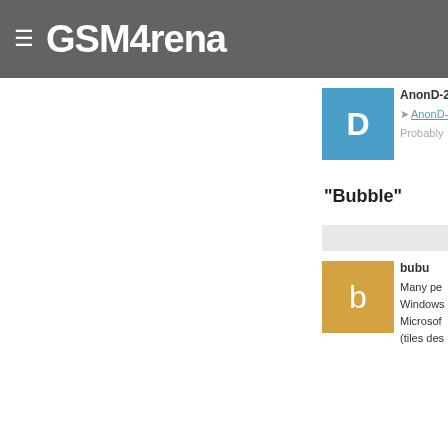≡ GSMArena
AnonD-21
AnonD-
Probably
"Bubble"
bubu
Many pe Windows Microsof (tiles des